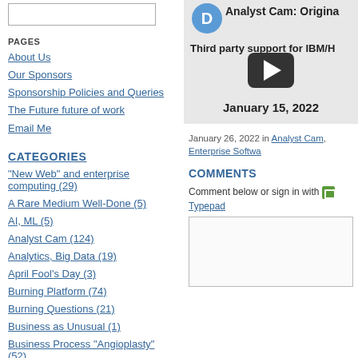[Figure (screenshot): Search box / input field]
PAGES
About Us
Our Sponsors
Sponsorship Policies and Queries
The Future future of work
Email Me
CATEGORIES
"New Web" and enterprise computing (29)
A Rare Medium Well-Done (5)
AI, ML (5)
Analyst Cam (124)
Analytics, Big Data (19)
April Fool's Day (3)
Burning Platform (74)
Burning Questions (21)
Business as Unusual (1)
Business Process "Angioplasty" (52)
Cloud Computing (7)
[Figure (screenshot): Video thumbnail with play button, avatar icon D, title 'Analyst Cam: Origina', subtitle 'Third party support for IBM/H', date 'January 15, 2022']
January 26, 2022 in Analyst Cam, Enterprise Softwa...
COMMENTS
Comment below or sign in with Typepad